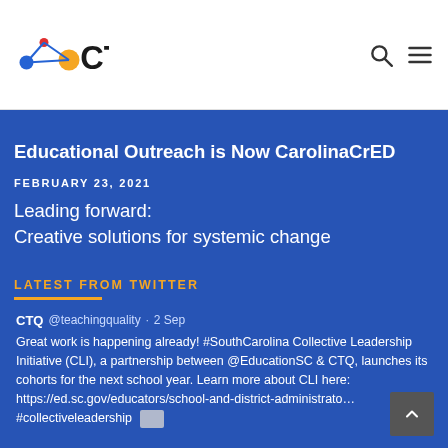[Figure (logo): CTQ logo with connected nodes (blue, red, yellow circles) and letters CTQ]
Educational Outreach is Now CarolinaCrED
FEBRUARY 23, 2021
Leading forward:
Creative solutions for systemic change
LATEST FROM TWITTER
CTQ @teachingquality · 2 Sep
Great work is happening already! #SouthCarolina Collective Leadership Initiative (CLI), a partnership between @EducationSC & CTQ, launches its cohorts for the next school year. Learn more about CLI here: https://ed.sc.gov/educators/school-and-district-administrato… #collectiveleadership